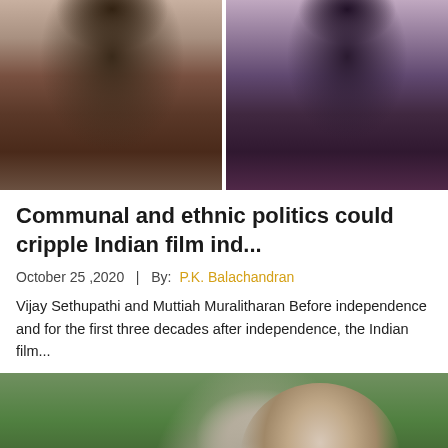[Figure (photo): Two men photographed side by side: left man with beard in plaid shirt, right man with short beard in purple jersey]
Communal and ethnic politics could cripple Indian film ind...
October 25 ,2020   |   By: P.K. Balachandran
Vijay Sethupathi and Muttiah Muralitharan Before independence and for the first three decades after independence, the Indian film...
[Figure (photo): Elderly man with white/grey hair smiling outdoors with blurred green background]